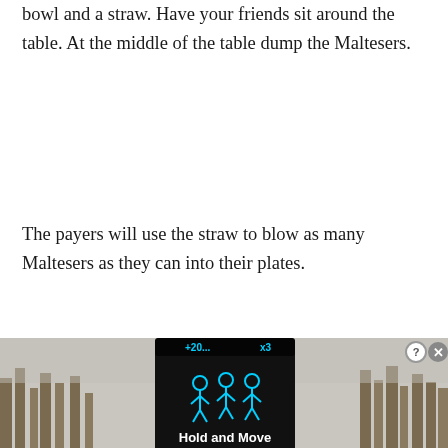bowl and a straw. Have your friends sit around the table. At the middle of the table dump the Maltesers.
The payers will use the straw to blow as many Maltesers as they can into their plates.
The winner is the person who collects the majority. You must have some extra chocolate, enough for everyone to get a share and celebrate at the end of the game.
[Figure (screenshot): Advertisement banner showing a mobile game called 'Hold and Move' with a dark device screen displaying cyan score indicators and stick figure icons, overlaid on a nature/trees background. Includes close (X) and help (?) buttons in the top right.]